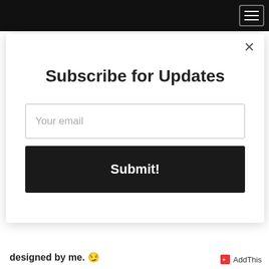We've decided that we are going to visit his cardiologist and find out from a cardiovascular standpoint, do we need to
[Figure (screenshot): Subscribe for Updates modal dialog with email input field and Submit button, and an X close button in the top right corner]
designed by me. 😏
AddThis